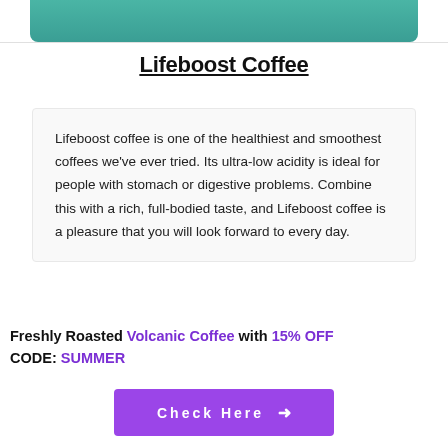[Figure (photo): Partial view of Lifeboost Coffee product packaging with teal/green background, cropped at top of page]
Lifeboost Coffee
Lifeboost coffee is one of the healthiest and smoothest coffees we've ever tried. Its ultra-low acidity is ideal for people with stomach or digestive problems. Combine this with a rich, full-bodied taste, and Lifeboost coffee is a pleasure that you will look forward to every day.
Freshly Roasted Volcanic Coffee with 15% OFF CODE: SUMMER
[Figure (other): Purple button with text 'Check Here' and right arrow]